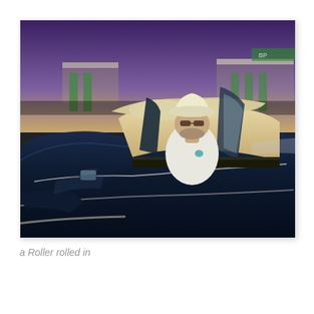[Figure (photo): A man wearing a white cowboy hat and sunglasses sits in the driver's seat of a dark navy blue convertible classic car with cream/beige leather interior, photographed at a gas station at dusk with a purple sky in the background.]
a Roller rolled in